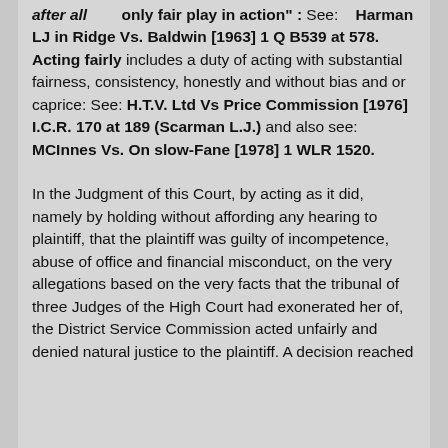after all only fair play in action" : See: Harman LJ in Ridge Vs. Baldwin [1963] 1 Q B539 at 578. Acting fairly includes a duty of acting with substantial fairness, consistency, honestly and without bias and or caprice: See: H.T.V. Ltd Vs Price Commission [1976] I.C.R. 170 at 189 (Scarman L.J.) and also see: MCInnes Vs. On slow-Fane [1978] 1 WLR 1520.
In the Judgment of this Court, by acting as it did, namely by holding without affording any hearing to plaintiff, that the plaintiff was guilty of incompetence, abuse of office and financial misconduct, on the very allegations based on the very facts that the tribunal of three Judges of the High Court had exonerated her of, the District Service Commission acted unfairly and denied natural justice to the plaintiff. A decision reached in contravention of the Rules of Natural Justice is...